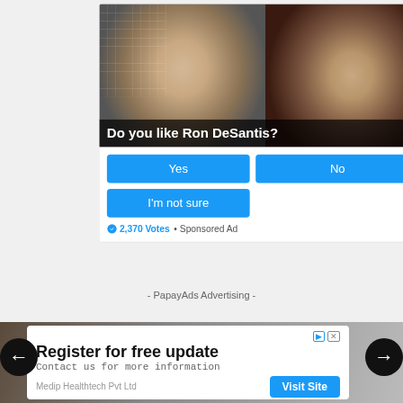[Figure (photo): Poll card with two politician photos side by side (male on left with American flag, female on right with blue background). Question overlay reads 'Do you like Ron DeSantis?' with Yes, No, and I'm not sure buttons, plus 2,370 Votes and Sponsored Ad footer.]
Yes
No
I'm not sure
2,370 Votes  •  Sponsored Ad
- PapayAds Advertising -
[Figure (screenshot): Register for free update ad card with title 'Register for free update', subtitle 'Contact us for more information', company 'Medip Healthtech Pvt Ltd', and a blue 'Visit Site' button. Navigation arrows on left and right.]